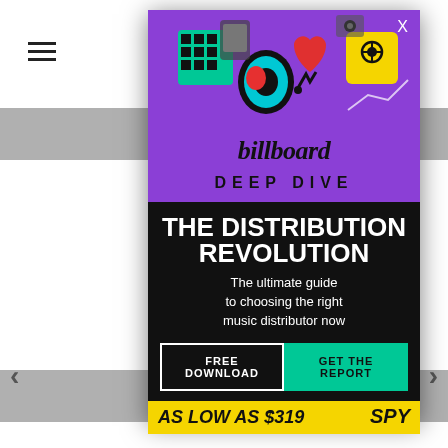[Figure (screenshot): Background website page with grey navigation bars and carousel arrows visible behind ad overlay]
[Figure (infographic): Billboard Deep Dive advertisement overlay. Purple section with illustrated icons (TikTok logo, heart, phone, camera etc.) and billboard deep dive branding. Black section with white bold text: THE DISTRIBUTION REVOLUTION. The ultimate guide to choosing the right music distributor now. Two CTA buttons: FREE DOWNLOAD and GET THE REPORT in teal. Bottom yellow bar: AS LOW AS $319 and SPY text.]
THE DISTRIBUTION REVOLUTION
The ultimate guide to choosing the right music distributor now
FREE DOWNLOAD
GET THE REPORT
AS LOW AS $319